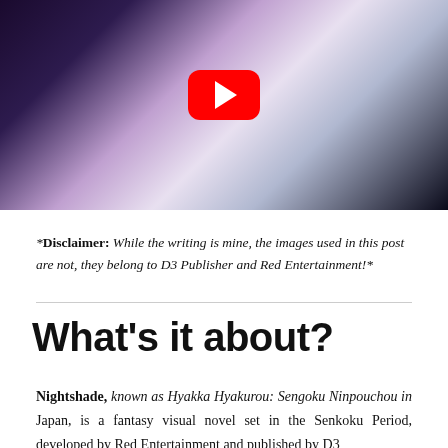[Figure (screenshot): YouTube video thumbnail showing anime-style artwork with a character with glasses and purple/dark hair, with a red YouTube play button overlay in the center]
*Disclaimer: While the writing is mine, the images used in this post are not, they belong to D3 Publisher and Red Entertainment!*
What's it about?
Nightshade, known as Hyakka Hyakurou: Sengoku Ninpouchou in Japan, is a fantasy visual novel set in the Senkoku Period, developed by Red Entertainment and published by D3